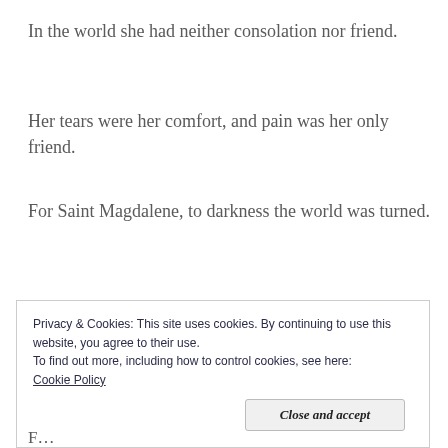In the world she had neither consolation nor friend.
Her tears were her comfort, and pain was her only friend.
For Saint Magdalene, to darkness the world was turned.
[Figure (other): Advertisement banner placeholder (beige/tan colored rectangle) with 'REPORT THIS AD' label below right]
Privacy & Cookies: This site uses cookies. By continuing to use this website, you agree to their use.
To find out more, including how to control cookies, see here:
Cookie Policy
Close and accept
F…